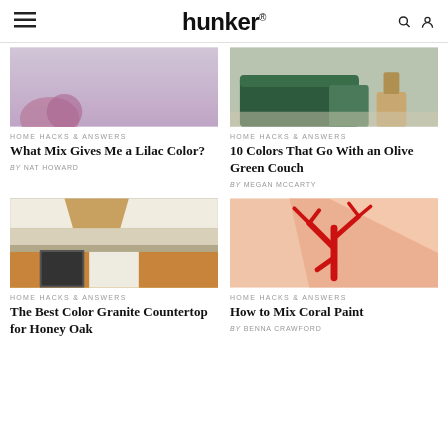hunker
[Figure (photo): Close-up of a hand holding something purple/lilac colored against a light lavender background]
HOME HACKS & ANSWERS
What Mix Gives Me a Lilac Color?
By NAT HOWARD
[Figure (photo): Dark green leather couch in a living room with wooden side table and light rug]
HOME HACKS & ANSWERS
10 Colors That Go With an Olive Green Couch
By MEGAN MCCARTY
[Figure (photo): Kitchen with honey oak cabinets, white upper cabinets, granite countertop, stainless appliances and tile backsplash]
HOME HACKS & ANSWERS
The Best Color Granite Countertop for Honey Oak
[Figure (photo): Red coral branch decorative object on peach/salmon colored paint swatches background]
HOME HACKS & ANSWERS
How to Mix Coral Paint
By BENNA CRAWFORD